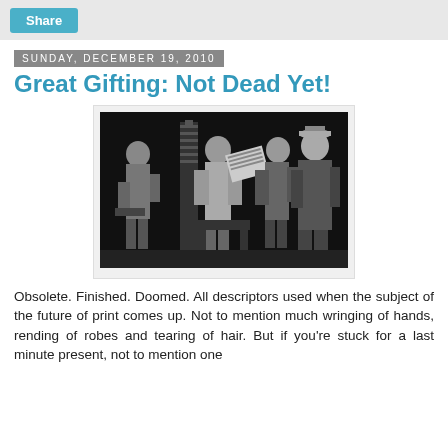Share
Sunday, December 19, 2010
Great Gifting: Not Dead Yet!
[Figure (illustration): Black and white historical illustration showing figures in a print shop, with men examining printed pages near a printing press.]
Obsolete. Finished. Doomed. All descriptors used when the subject of the future of print comes up. Not to mention much wringing of hands, rending of robes and tearing of hair. But if you're stuck for a last minute present, not to mention one